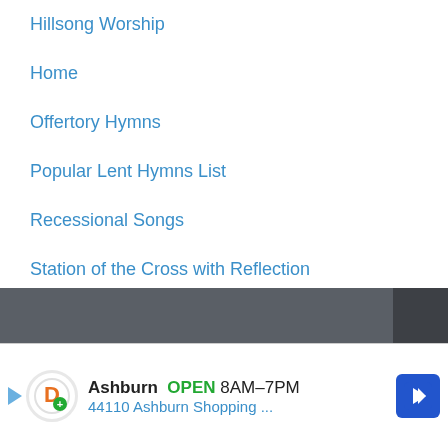Hillsong Worship
Home
Offertory Hymns
Popular Lent Hymns List
Recessional Songs
Station of the Cross with Reflection
The Order of Mass
Worship Songs and Praises 2021
[Figure (screenshot): Advertisement banner: Ashburn OPEN 8AM-7PM, 44110 Ashburn Shopping ... with orange D logo and blue navigation arrow icon]